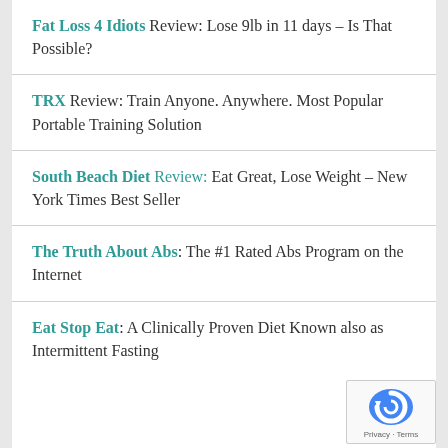Fat Loss 4 Idiots Review: Lose 9lb in 11 days – Is That Possible?
TRX Review: Train Anyone. Anywhere. Most Popular Portable Training Solution
South Beach Diet Review: Eat Great, Lose Weight – New York Times Best Seller
The Truth About Abs: The #1 Rated Abs Program on the Internet
Eat Stop Eat: A Clinically Proven Diet Known also as Intermittent Fasting